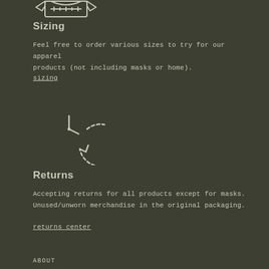[Figure (illustration): Icon of a clothing/apparel item (t-shirt with ruler or size tag), line art in light color on dark background, partially visible at top]
Sizing
Feel free to order various sizes to try for our apparel products (not including masks or home).
sizing
[Figure (illustration): Clock/time icon with a circular arrow indicating refresh or return, line art in light color on dark background]
Returns
Accepting returns for all products except for masks. Unused/unworn merchandise in the original packaging.
returns center
ABOUT